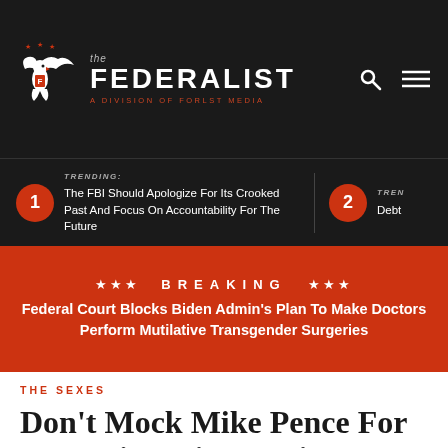the FEDERALIST — A DIVISION OF FORLST MEDIA
TRENDING: The FBI Should Apologize For Its Crooked Past And Focus On Accountability For The Future
TRENDING: Debt
*** BREAKING *** Federal Court Blocks Biden Admin's Plan To Make Doctors Perform Mutilative Transgender Surgeries
THE SEXES
Don't Mock Mike Pence For Protecting His Marriage, Commend Him